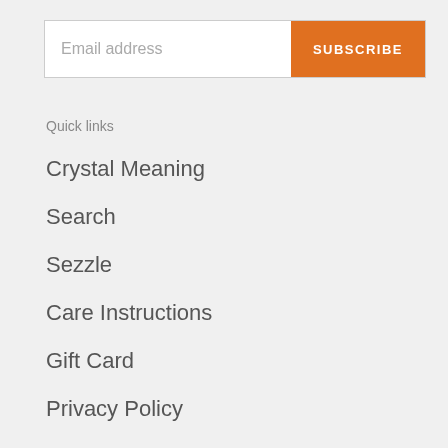[Figure (screenshot): Email subscription bar with input field labeled 'Email address' and an orange 'SUBSCRIBE' button]
Quick links
Crystal Meaning
Search
Sezzle
Care Instructions
Gift Card
Privacy Policy